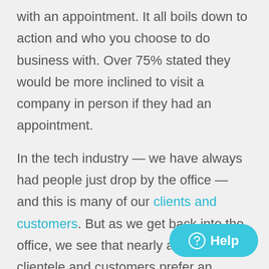with an appointment. It all boils down to action and who you choose to do business with. Over 75% stated they would be more inclined to visit a company in person if they had an appointment.
In the tech industry — we have always had people just drop by the office — and this is many of our clients and customers. But as we get back into the office, we see that nearly all of our clientele and customers prefer an appointment. So keeping everything scheduled requires an uptick in scheduling and for the teammates to pay an additional amount of attention to